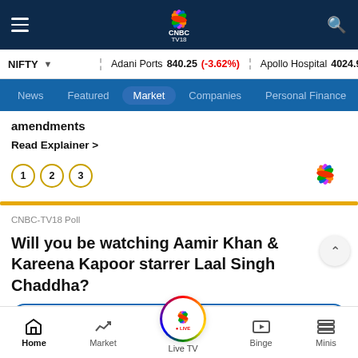CNBC TV18 navigation bar with hamburger menu, CNBC TV18 logo, and search icon
NIFTY  Adani Ports 840.25 (-3.62%)  Apollo Hospital 4024.90 (-2...
News  Featured  Market  Companies  Personal Finance
amendments
Read Explainer >
1  2  3
CNBC-TV18 Poll
Will you be watching Aamir Khan & Kareena Kapoor starrer Laal Singh Chaddha?
Home  Market  Live TV  Binge  Minis